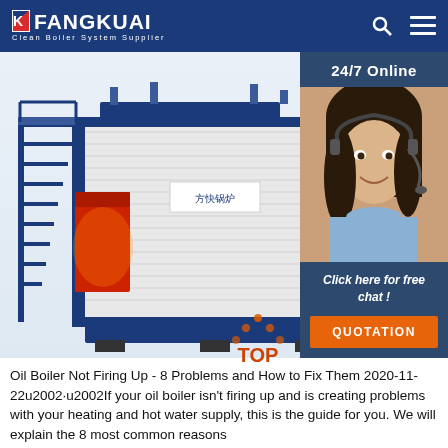FANGKUAI - Clean Boiler System Supplier
[Figure (photo): Industrial oil/gas boiler unit with blue metal frame, red combustion chamber, white corrugated casing, and metal stairs/platform on left side. Fangkuai branding visible on casing.]
[Figure (photo): 24/7 Online customer service agent: woman with headset smiling. Call-to-action panel with 'Click here for free chat!' text and orange QUOTATION button.]
Oil Boiler Not Firing Up - 8 Problems and How to Fix Them 2020-11-22u2002·u2002If your oil boiler isn't firing up and is creating problems with your heating and hot water supply, this is the guide for you. We will explain the 8 most common reasons